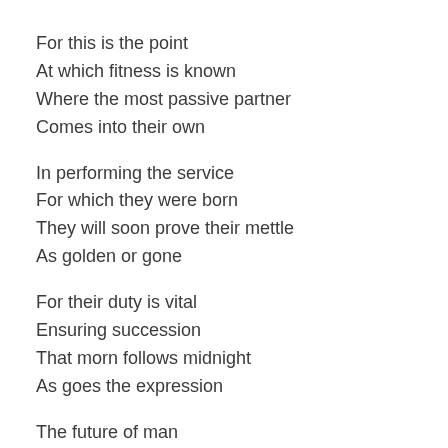For this is the point
At which fitness is known
Where the most passive partner
Comes into their own
In performing the service
For which they were born
They will soon prove their mettle
As golden or gone
For their duty is vital
Ensuring succession
That morn follows midnight
As goes the expression
The future of man
Hangs on one technicality